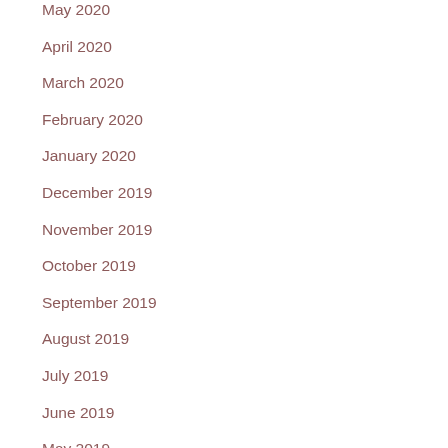May 2020
April 2020
March 2020
February 2020
January 2020
December 2019
November 2019
October 2019
September 2019
August 2019
July 2019
June 2019
May 2019
April 2019